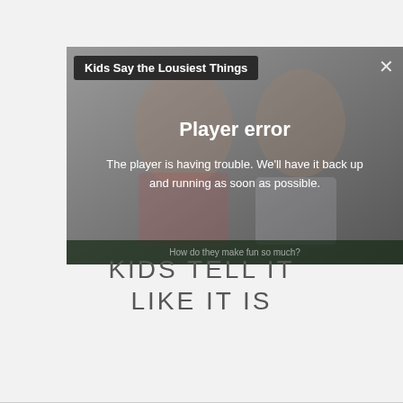[Figure (screenshot): Video player showing two children with a dark overlay displaying a player error message. Title bar reads 'Kids Say the Lousiest Things'. Error message: 'Player error — The player is having trouble. We'll have it back up and running as soon as possible.' A close X button appears top right.]
KIDS TELL IT LIKE IT IS